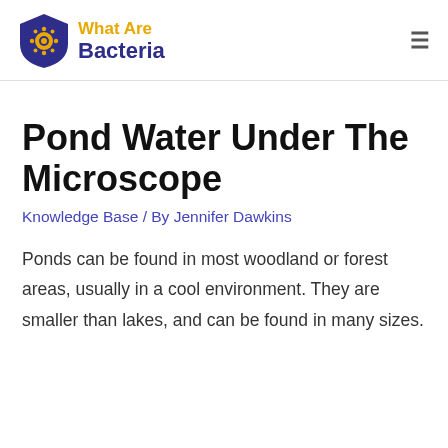What Are Bacteria
Pond Water Under The Microscope
Knowledge Base / By Jennifer Dawkins
Ponds can be found in most woodland or forest areas, usually in a cool environment. They are smaller than lakes, and can be found in many sizes.